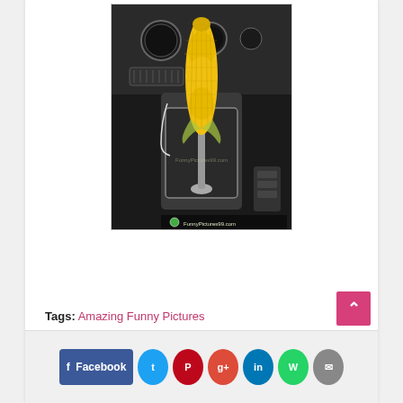[Figure (photo): Photo of a car interior showing a gear shift knob topped with a corn cob. The car dashboard and center console are visible. Watermark reads 'FunnyPictures99.com'.]
Tags: Amazing Funny Pictures
[Figure (infographic): Social media sharing buttons: Facebook, Twitter, Pinterest, Google+, LinkedIn, WhatsApp, Email]